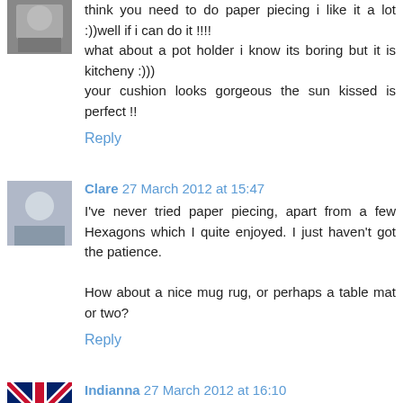think you need to do paper piecing i like it a lot :))well if i can do it !!!! what about a pot holder i know its boring but it is kitcheny :))) your cushion looks gorgeous the sun kissed is perfect !!
Reply
Clare 27 March 2012 at 15:47
I've never tried paper piecing, apart from a few Hexagons which I quite enjoyed. I just haven't got the patience.

How about a nice mug rug, or perhaps a table mat or two?
Reply
Indianna 27 March 2012 at 16:10
I'd make a snuggle jacket for my Boden coffee pot. Save it going cold too fast on a lazy Sunday morning. Good luck with the paper piecing - I'm attempting a pp kitchen mixer!